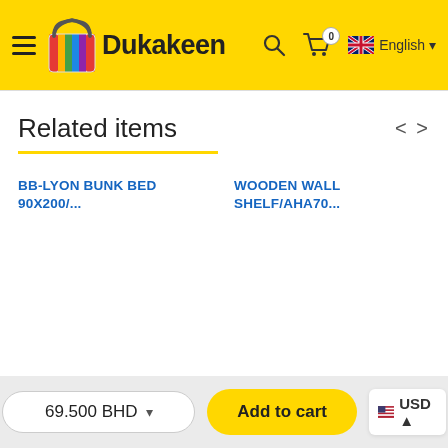Dukakeen
Related items
BB-LYON BUNK BED 90X200/...
WOODEN WALL SHELF/AHA70...
69.500 BHD
Add to cart
USD